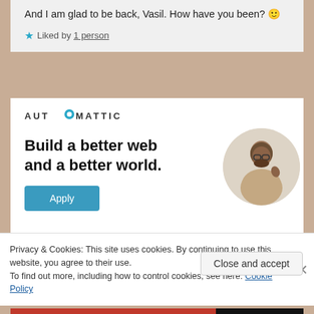And I am glad to be back, Vasil. How have you been? 🙂
★ Liked by 1 person
[Figure (logo): Automattic logo with gear icon]
Build a better web and a better world.
[Figure (photo): Circular cropped photo of a man with glasses and beard, thinking pose]
Apply button
Privacy & Cookies: This site uses cookies. By continuing to use this website, you agree to their use.
To find out more, including how to control cookies, see here: Cookie Policy
Close and accept